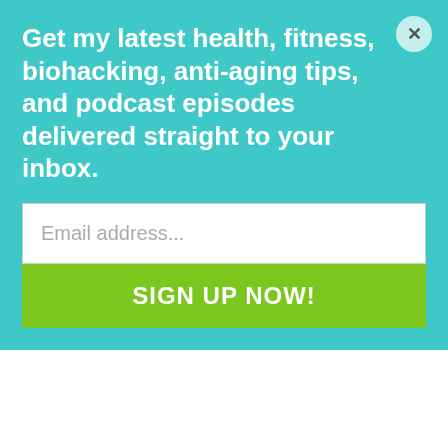Get my latest health, fitness, biohacking, anti-aging tips, and podcast episodes delivered straight to your inbox.
February 2, 2018 at 7:25 am
How do your Xero and Lems hold up to the pins in the pedals? I ride Catalyst on my fatbike and am going to ride them on my gravel bike.
Reply